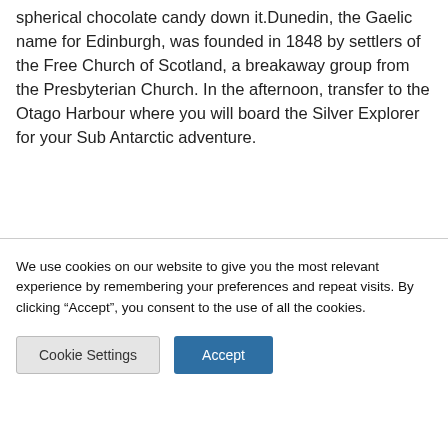spherical chocolate candy down it.Dunedin, the Gaelic name for Edinburgh, was founded in 1848 by settlers of the Free Church of Scotland, a breakaway group from the Presbyterian Church. In the afternoon, transfer to the Otago Harbour where you will board the Silver Explorer for your Sub Antarctic adventure.
DAY 2 ULVA ISLAND
We use cookies on our website to give you the most relevant experience by remembering your preferences and repeat visits. By clicking “Accept”, you consent to the use of all the cookies.